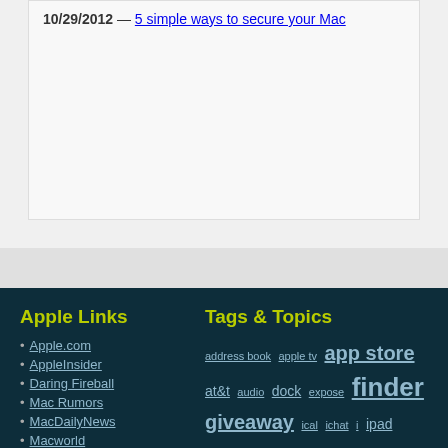10/29/2012 — 5 simple ways to secure your Mac
Apple Links
Apple.com
AppleInsider
Daring Fireball
Mac Rumors
MacDailyNews
Macworld
Tags & Topics
address book apple tv app store at&t audio dock expose finder giveaway ical ichat i ipad iphone iphoto ipod ipod touch i leopard lion mac macbook macbook pro mac mini mail microsoft ne preview quicktime safari security snow leo software spotlight stacks system prefe terminal time machine video windows